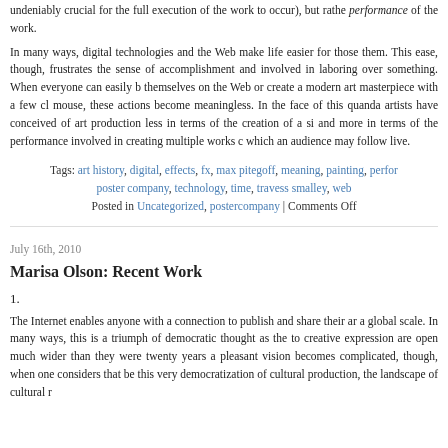undeniably crucial for the full execution of the work to occur), but rather the performance of the work.
In many ways, digital technologies and the Web make life easier for those using them. This ease, though, frustrates the sense of accomplishment and involved in laboring over something. When everyone can easily broadcast themselves on the Web or create a modern art masterpiece with a few clicks of a mouse, these actions become meaningless. In the face of this quandary, some artists have conceived of art production less in terms of the creation of a single and more in terms of the performance involved in creating multiple works of which an audience may follow live.
Tags: art history, digital, effects, fx, max pitegoff, meaning, painting, perfor... poster company, technology, time, travess smalley, web
Posted in Uncategorized, postercompany | Comments Off
July 16th, 2010
Marisa Olson: Recent Work
1.
The Internet enables anyone with a connection to publish and share their ar a global scale. In many ways, this is a triumph of democratic thought as the to creative expression are open much wider than they were twenty years a pleasant vision becomes complicated, though, when one considers that be this very democratization of cultural production, the landscape of cultural r